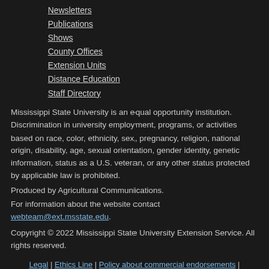Newsletters
Publications
Shows
County Offices
Extension Units
Distance Education
Staff Directory
Mississippi State University is an equal opportunity institution. Discrimination in university employment, programs, or activities based on race, color, ethnicity, sex, pregnancy, religion, national origin, disability, age, sexual orientation, gender identity, genetic information, status as a U.S. veteran, or any other status protected by applicable law is prohibited.
Produced by Agricultural Communications.
For information about the website contact webteam@ext.msstate.edu.
Copyright © 2022 Mississippi State University Extension Service. All rights reserved.
Legal | Ethics Line | Policy about commercial endorsements | DAFVM | USDA | eXtension | Legislative Update: Miss. Code Ann.